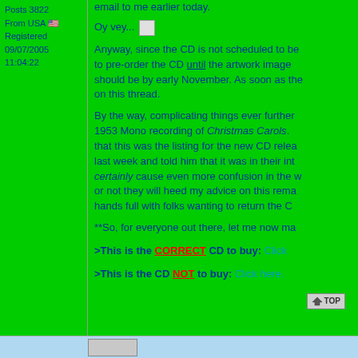Posts 3822
From USA
Registered 09/07/2005
11:04:22
email to me earlier today.
Oy vey...
Anyway, since the CD is not scheduled to be to pre-order the CD until the artwork image should be by early November. As soon as the on this thread.
By the way, complicating things ever further 1953 Mono recording of Christmas Carols. that this was the listing for the new CD relea last week and told him that it was in their int certainly cause even more confusion in the w or not they will heed my advice on this rema hands full with folks wanting to return the C
**So, for everyone out there, let me now ma
>This is the CORRECT CD to buy: Click
>This is the CD NOT to buy: Click here.